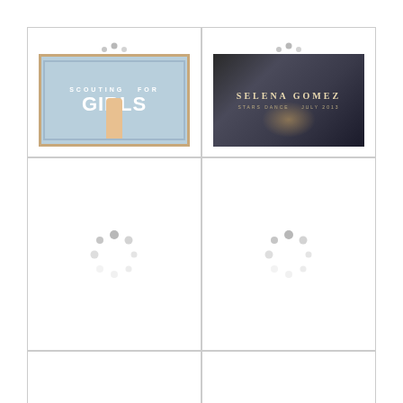[Figure (photo): Cell 1 top-left: image of Scouting for Girls album/poster with loading spinner visible at top, blue background with white text]
[Figure (photo): Cell 2 top-right: Selena Gomez promotional image/poster with dark moody background, loading spinner at top]
[Figure (photo): Cell 3 middle-left: loading spinner centered, white background, content not yet loaded]
[Figure (photo): Cell 4 middle-right: loading spinner centered, white background, content not yet loaded]
[Figure (photo): Cell 5 bottom-left: loading spinner partially visible at bottom, white background, content not yet loaded]
[Figure (photo): Cell 6 bottom-right: loading spinner partially visible at bottom, white background, content not yet loaded]